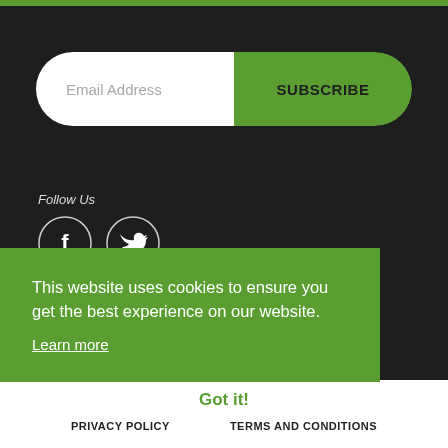[Figure (screenshot): Email subscription input field with placeholder text 'Email Address' on left and green 'SUBSCRIBE' button on right, inside a pill-shaped container on dark background]
Follow Us
[Figure (illustration): Two circular social media icons: Facebook (f) and Twitter (bird) with circle outlines on dark background]
This website uses cookies to ensure you get the best experience on our website.
Learn more
Got it!
PRIVACY POLICY
TERMS AND CONDITIONS